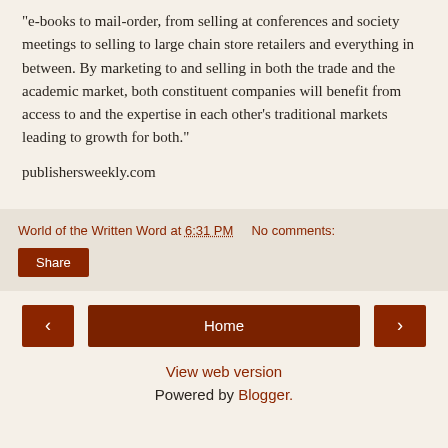"e-books to mail-order, from selling at conferences and society meetings to selling to large chain store retailers and everything in between. By marketing to and selling in both the trade and the academic market, both constituent companies will benefit from access to and the expertise in each other's traditional markets leading to growth for both."
publishersweekly.com
World of the Written Word at 6:31 PM    No comments:
Share
‹
Home
›
View web version
Powered by Blogger.